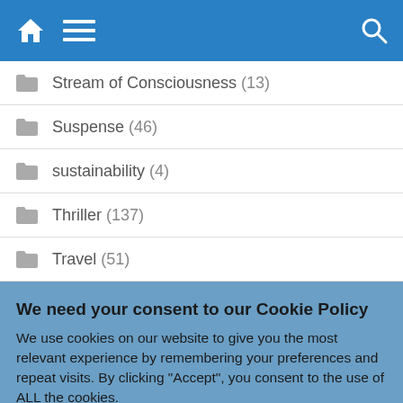Navigation bar with home, menu, and search icons
Stream of Consciousness (13)
Suspense (46)
sustainability (4)
Thriller (137)
Travel (51)
We need your consent to our Cookie Policy
We use cookies on our website to give you the most relevant experience by remembering your preferences and repeat visits. By clicking "Accept", you consent to the use of ALL the cookies.
Do not sell my personal information.
Cookie Settings  Accept